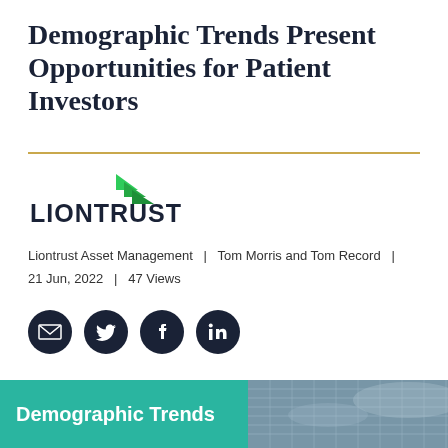Demographic Trends Present Opportunities for Patient Investors
[Figure (logo): Liontrust logo with green arrow/chevron and bold uppercase LIONTRUST text]
Liontrust Asset Management  |  Tom Morris and Tom Record  |  21 Jun, 2022  |  47 Views
[Figure (infographic): Social sharing icons: email (envelope), Twitter bird, Facebook f, LinkedIn in — white icons on dark navy circular backgrounds]
[Figure (photo): Banner image with teal background block on left reading 'Demographic Trends' in white bold text, and on the right a photo of a glass-facade office building with sky and clouds beneath]